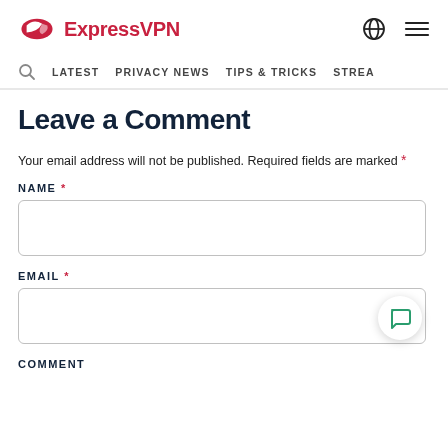ExpressVPN
LATEST  PRIVACY NEWS  TIPS & TRICKS  STREA
Leave a Comment
Your email address will not be published. Required fields are marked *
NAME *
EMAIL *
COMMENT